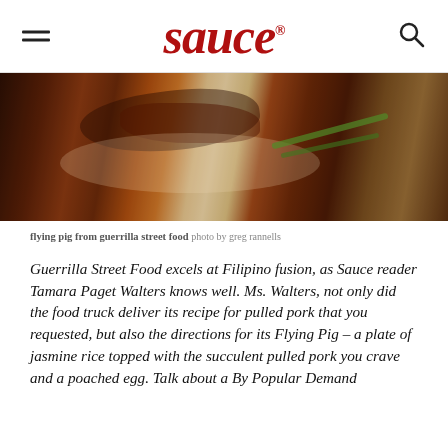sauce
[Figure (photo): Close-up photo of pulled pork over jasmine rice with green onion garnish, from Guerrilla Street Food]
flying pig from guerrilla street food photo by greg rannells
Guerrilla Street Food excels at Filipino fusion, as Sauce reader Tamara Paget Walters knows well. Ms. Walters, not only did the food truck deliver its recipe for pulled pork that you requested, but also the directions for its Flying Pig – a plate of jasmine rice topped with the succulent pulled pork you crave and a poached egg. Talk about a By Popular Demand